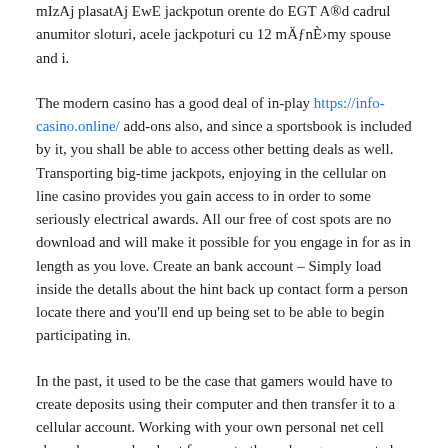mIzAj plasatAj EwE jackpotun orente do EGT A®d cadrul anumitor sloturi, acele jackpoturi cu 12 mÄƒnÈ›my spouse and i.
The modern casino has a good deal of in-play https://info-casino.online/ add-ons also, and since a sportsbook is included by it, you shall be able to access other betting deals as well. Transporting big-time jackpots, enjoying in the cellular on line casino provides you gain access to in order to some seriously electrical awards. All our free of cost spots are no download and will make it possible for you engage in for as in length as you love. Create an bank account – Simply load inside the detalls about the hint back up contact form a person locate there and you'll end up being set to be able to begin participating in.
In the past, it used to be the case that gamers would have to create deposits using their computer and then transfer it to a cellular account. Working with your own personal net cell phone browser, head out for you to the web page connected with the